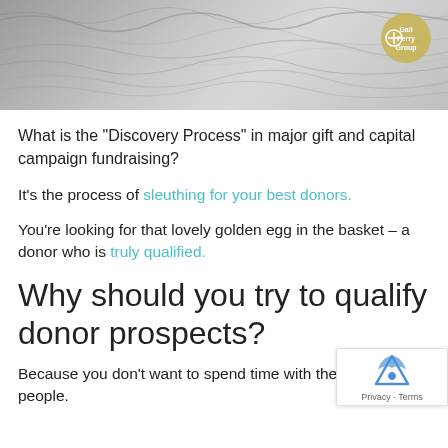[Figure (photo): Gray yarn/thread texture photograph with a circular logo badge in the top right corner]
What is the “Discovery Process” in major gift and capital campaign fundraising?
It’s the process of sleuthing for your best donors.
You’re looking for that lovely golden egg in the basket – a donor who is truly qualified.
Why should you try to qualify donor prospects?
Because you don’t want to spend time with the wrong people.